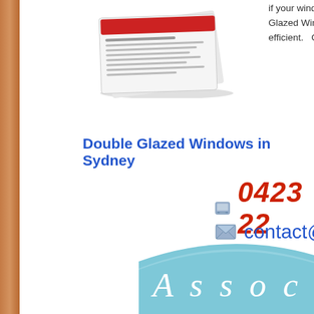[Figure (illustration): Newspaper or brochure document illustration, folded pages]
if your windows and doors have an inadequate Glazed Windows and Doors offer full control of efficient.   Get all the facts on double glazed cli…
Double Glazed Windows in Sydney
0423 22…
contact@w…
[Figure (illustration): Association banner/badge with light blue curved design and text 'Associat...']